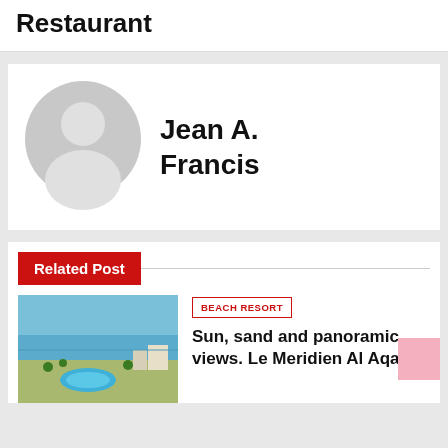Restaurant
Jean A. Francis
Related Post
[Figure (photo): Aerial view of a beach resort with pool and ocean]
BEACH RESORT
Sun, sand and panoramic views. Le Meridien Al Aqah